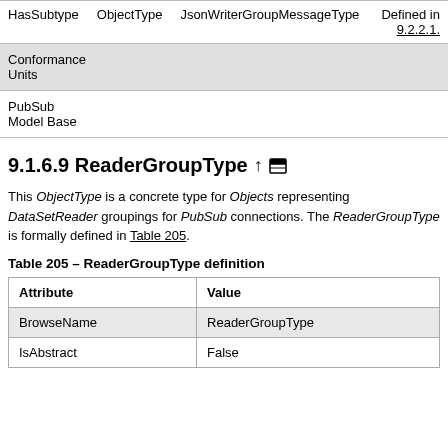| HasSubtype | ObjectType | JsonWriterGroupMessageType | Defined in |
| --- | --- | --- | --- |
|  |  |  | 9.2.2.1. |
| Conformance Units |  |  |  |
| PubSub Model Base |  |  |  |
9.1.6.9 ReaderGroupType ↑ ▣
This ObjectType is a concrete type for Objects representing DataSetReader groupings for PubSub connections. The ReaderGroupType is formally defined in Table 205.
Table 205 – ReaderGroupType definition
| Attribute | Value |
| --- | --- |
| BrowseName | ReaderGroupType |
| IsAbstract | False |